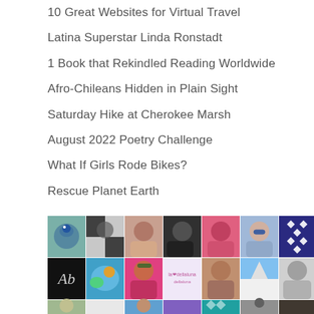10 Great Websites for Virtual Travel
Latina Superstar Linda Ronstadt
1 Book that Rekindled Reading Worldwide
Afro-Chileans Hidden in Plain Sight
Saturday Hike at Cherokee Marsh
August 2022 Poetry Challenge
What If Girls Rode Bikes?
Rescue Planet Earth
[Figure (photo): Grid of user avatar profile photos, 3 rows by 7 columns, showing various people and icons]